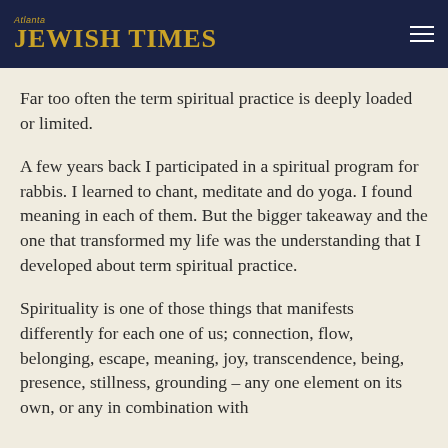Atlanta Jewish Times
Far too often the term spiritual practice is deeply loaded or limited.
A few years back I participated in a spiritual program for rabbis. I learned to chant, meditate and do yoga. I found meaning in each of them. But the bigger takeaway and the one that transformed my life was the understanding that I developed about term spiritual practice.
Spirituality is one of those things that manifests differently for each one of us; connection, flow, belonging, escape, meaning, joy, transcendence, being, presence, stillness, grounding – any one element on its own, or any in combination with